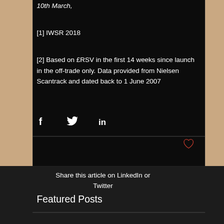10th March,
[1] IWSR 2018
[2] Based on £RSV in the first 14 weeks since launch in the off-trade only. Data provided from Nielsen Scantrack and dated back to 1 June 2007
[Figure (infographic): Social share icons: Facebook (f), Twitter bird, LinkedIn (in)]
[Figure (infographic): Heart/like icon in red outline]
Share this article on LinkedIn or Twitter
Featured Posts